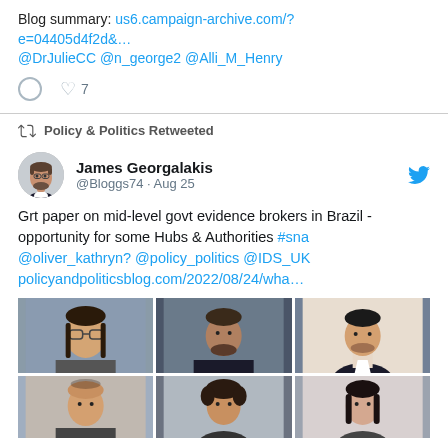Blog summary: us6.campaign-archive.com/?e=04405d4f2d&… @DrJulieCC @n_george2 @Alli_M_Henry
♡ 7
Policy & Politics Retweeted
James Georgalakis @Bloggs74 · Aug 25
Grt paper on mid-level govt evidence brokers in Brazil - opportunity for some Hubs & Authorities #sna @oliver_kathryn? @policy_politics @IDS_UK policyandpoliticsblog.com/2022/08/24/wha…
[Figure (photo): Grid of 6 profile photos of people, shown in 2 rows of 3]
[Figure (photo): Profile photo of James Georgalakis, a man with beard]